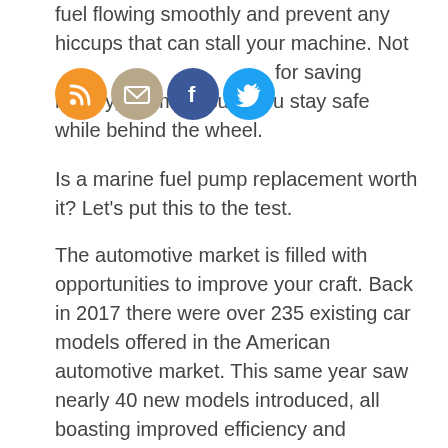fuel flowing smoothly and prevent any hiccups that can stall your machine. Not only is it great for saving money, it'll make sure you stay safe while behind the wheel.
[Figure (illustration): Four social media icon circles in a row: RSS (orange), Email (tan/beige), Facebook (dark blue), Twitter (light blue)]
Is a marine fuel pump replacement worth it? Let's put this to the test.
The automotive market is filled with opportunities to improve your craft. Back in 2017 there were over 235 existing car models offered in the American automotive market. This same year saw nearly 40 new models introduced, all boasting improved efficiency and customization options. Learning how to repair your vehicle